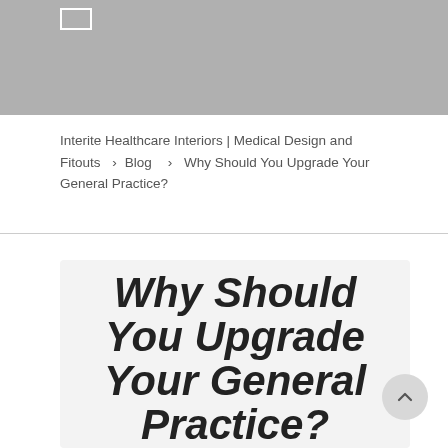[Figure (photo): Gray header image area at the top of the page with navigation icon]
Interite Healthcare Interiors | Medical Design and Fitouts > Blog > Why Should You Upgrade Your General Practice?
Why Should You Upgrade Your General Practice?